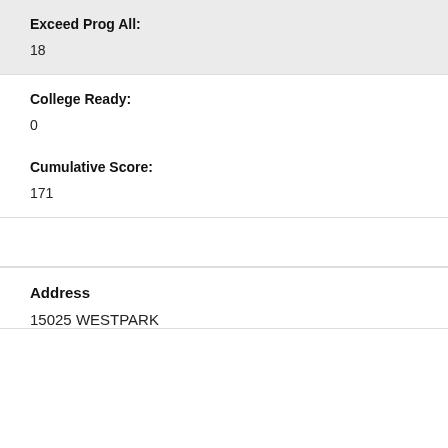Exceed Prog All:
18
College Ready:
0
Cumulative Score:
171
Address
15025 WESTPARK